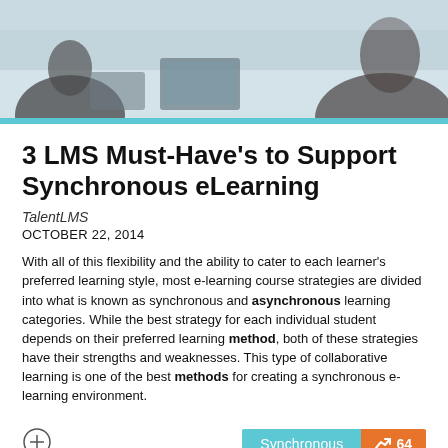[Figure (photo): Header photo showing people working together at a table with laptops and tablets in an office/classroom setting]
3 LMS Must-Have’s to Support Synchronous eLearning
TalentLMS
OCTOBER 22, 2014
With all of this flexibility and the ability to cater to each learner's preferred learning style, most e-learning course strategies are divided into what is known as synchronous and asynchronous learning categories. While the best strategy for each individual student depends on their preferred learning method, both of these strategies have their strengths and weaknesses. This type of collaborative learning is one of the best methods for creating a synchronous e-learning environment.